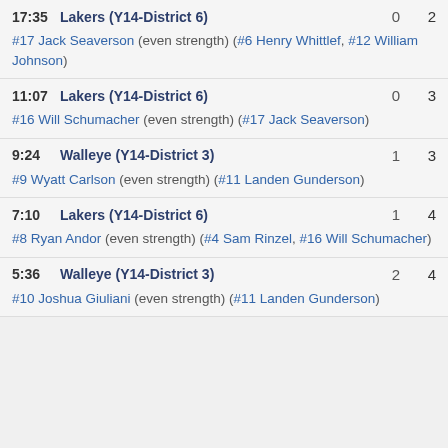17:35 Lakers (Y14-District 6) 0 2 — #17 Jack Seaverson (even strength) (#6 Henry Whittlef, #12 William Johnson)
11:07 Lakers (Y14-District 6) 0 3 — #16 Will Schumacher (even strength) (#17 Jack Seaverson)
9:24 Walleye (Y14-District 3) 1 3 — #9 Wyatt Carlson (even strength) (#11 Landen Gunderson)
7:10 Lakers (Y14-District 6) 1 4 — #8 Ryan Andor (even strength) (#4 Sam Rinzel, #16 Will Schumacher)
5:36 Walleye (Y14-District 3) 2 4 — #10 Joshua Giuliani (even strength) (#11 Landen Gunderson)